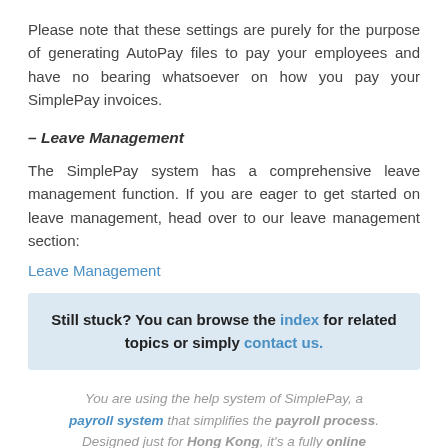Please note that these settings are purely for the purpose of generating AutoPay files to pay your employees and have no bearing whatsoever on how you pay your SimplePay invoices.
– Leave Management
The SimplePay system has a comprehensive leave management function. If you are eager to get started on leave management, head over to our leave management section:
Leave Management
Still stuck? You can browse the index for related topics or simply contact us.
You are using the help system of SimplePay, a payroll system that simplifies the payroll process. Designed just for Hong Kong, it's a fully online solution. Read more.